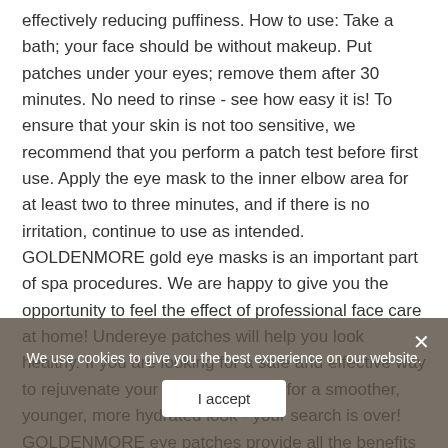effectively reducing puffiness. How to use: Take a bath; your face should be without makeup. Put patches under your eyes; remove them after 30 minutes. No need to rinse - see how easy it is! To ensure that your skin is not too sensitive, we recommend that you perform a patch test before first use. Apply the eye mask to the inner elbow area for at least two to three minutes, and if there is no irritation, continue to use as intended. GOLDENMORE gold eye masks is an important part of spa procedures. We are happy to give you the opportunity to feel the effect of professional face care at home! Undereye patches will help you look healthy. If you are looking for a safe and effective way to rejuvenate your skin under eyes for a smoother, younger, more hydrated look - your search is over! GOLDENMORE eye patches provide all the benefits of regular spa visits, perfect lifting, and firming effect without any hassle. You deserve only the best! BUY and BE GORGEOUS!
We use cookies to give you the best experience on our website.